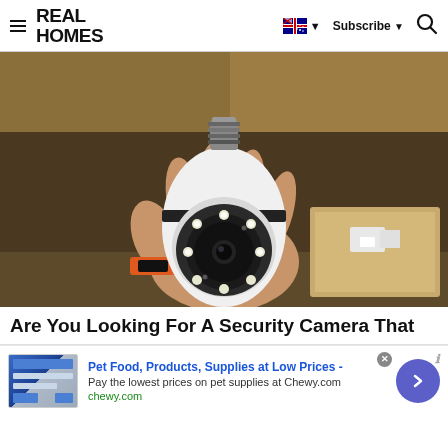REAL HOMES | Subscribe | Search
[Figure (photo): A hand holding a white security camera shaped like a light bulb, with a circular lens and LED lights on the front, screw-in base at top. Background shows shelving and packaging.]
Are You Looking For A Security Camera That
[Figure (screenshot): Advertisement banner: Pet Food, Products, Supplies at Low Prices - Pay the lowest prices on pet supplies at Chewy.com. chewy.com. With a close button and a right-arrow button.]